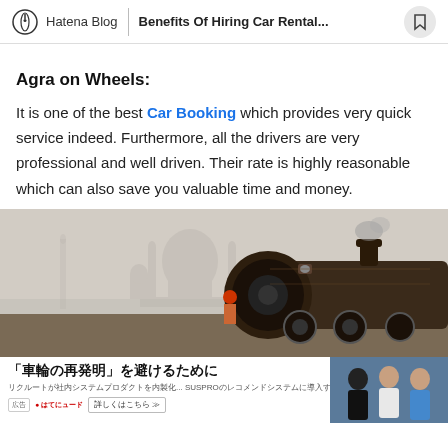Hatena Blog | Benefits Of Hiring Car Rental...
Agra on Wheels:
It is one of the best Car Booking which provides very quick service indeed. Furthermore, all the drivers are very professional and well driven. Their rate is highly reasonable which can also save you valuable time and money.
[Figure (photo): Steam locomotive in foreground with Taj Mahal visible in misty background; a person in red turban visible near the train]
[Figure (other): Japanese advertisement banner at bottom: '車輪の再発明' を避けるために with text about Recruit's system products and a photo of three people]